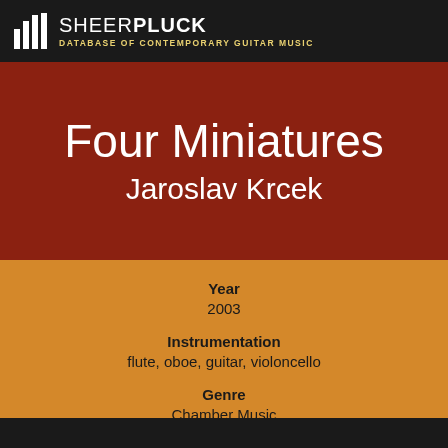SHEER PLUCK — DATABASE OF CONTEMPORARY GUITAR MUSIC
Four Miniatures
Jaroslav Krcek
Year
2003
Instrumentation
flute, oboe, guitar, violoncello
Genre
Chamber Music